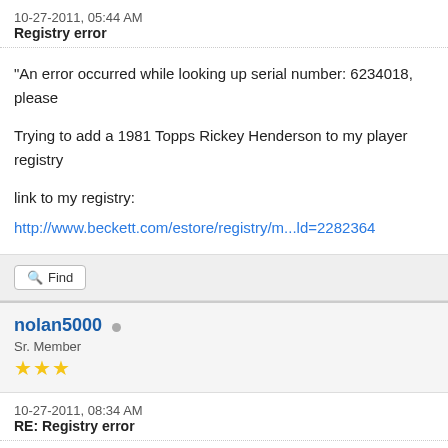10-27-2011, 05:44 AM
Registry error
"An error occurred while looking up serial number: 6234018, please
Trying to add a 1981 Topps Rickey Henderson to my player registry
link to my registry:
http://www.beckett.com/estore/registry/m...ld=2282364
Find
nolan5000
Sr. Member
★★★
10-27-2011, 08:34 AM
RE: Registry error
tiger8mush2 Wrote: → "An error occurred while looking up serial
Leave a message